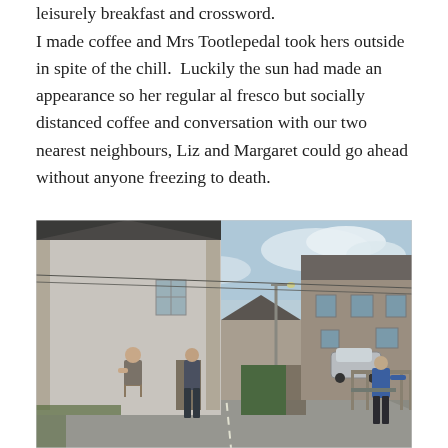leisurely breakfast and crossword.
I made coffee and Mrs Tootlepedal took hers outside in spite of the chill.  Luckily the sun had made an appearance so her regular al fresco but socially distanced coffee and conversation with our two nearest neighbours, Liz and Margaret could go ahead without anyone freezing to death.
[Figure (photo): Outdoor street scene in a Scottish village. A person sits on a chair against the wall of a white stone house on the left, another person leans against a wall nearby, and a third person in a blue jacket stands on the right side of the road leaning on a fence. Stone buildings line the street, with a parked car visible in the background and a streetlight. The sky is partly cloudy with some blue showing.]